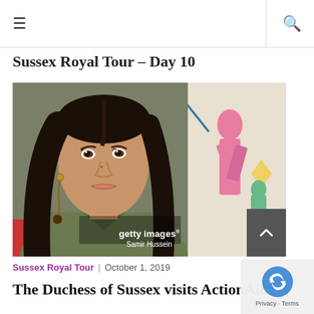☰  🔍
Sussex Royal Tour – Day 10
[Figure (photo): Close-up portrait of the Duchess of Sussex (Meghan Markle) seated, looking to the side, with colorful artwork visible in the background. Getty Images watermark with credit to Samir Hussein.]
Sussex Royal Tour | October 1, 2019
The Duchess of Sussex visits ActionAid